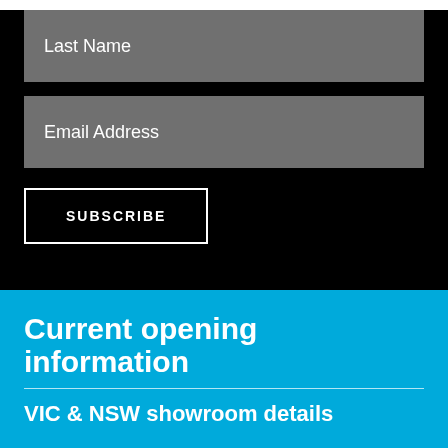Last Name
Email Address
SUBSCRIBE
Current opening information
VIC & NSW showroom details